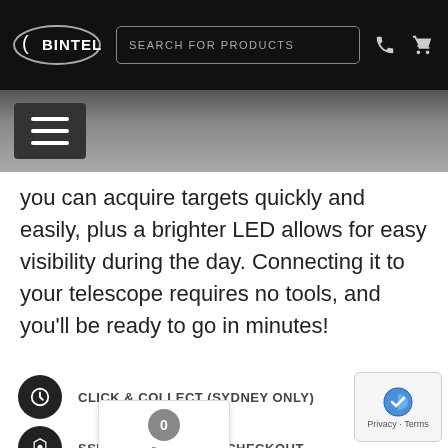BINTEL | SEARCH FOR PRODUCTS
you can acquire targets quickly and easily, plus a brighter LED allows for easy visibility during the day. Connecting it to your telescope requires no tools, and you'll be ready to go in minutes!
CLICK & COLLECT (SYDNEY ONLY)
SSL SECURE ONLINE CHECKOUT
VISA, MC, AMEX, PAYPAL, EFT, ZIP & AFTERPAY
TECH SUPPORT AVAILABLE
AUSTRALIAN OWNED & SUPPLIED
KIWI's DON'T PAY GST